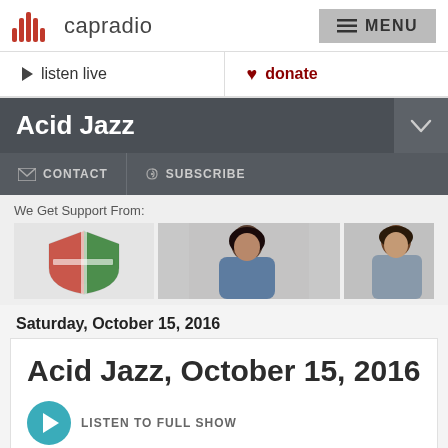capradio | MENU
listen live | donate
Acid Jazz
CONTACT  SUBSCRIBE
[Figure (photo): Sponsor images: shield logo and two people photos]
Saturday, October 15, 2016
Acid Jazz, October 15, 2016
LISTEN TO FULL SHOW